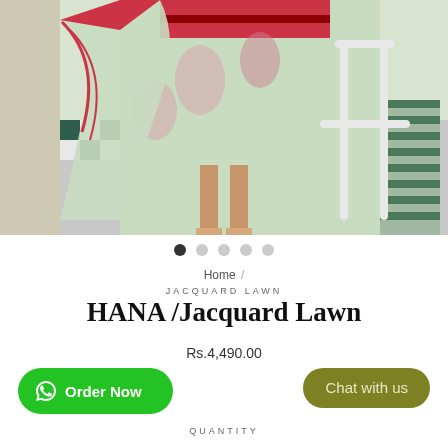[Figure (photo): Fashion product photo showing a woman wearing a light green and red Jacquard Lawn outfit, sitting on a white ornate chair on a patterned tile floor]
● ○ ○ ○ ○
Home /
JACQUARD LAWN
HANA /Jacquard Lawn
Rs.4,490.00
Order Now
Chat with us
QUANTITY